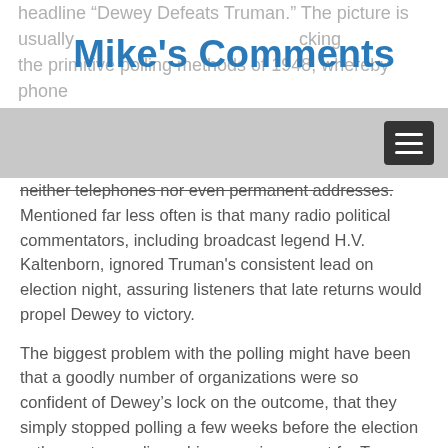headline "Dewey Defeats Truman." The picture is usually mocking the primitive polling methods of 1948, whereby phone surveys were utilized. Phone surveys would tend to miss the many lower and lower-middle class voters who had neither telephones nor even permanent addresses.
Mike's Comments
neither telephones nor even permanent addresses. Mentioned far less often is that many radio political commentators, including broadcast legend H.V. Kaltenborn, ignored Truman's consistent lead on election night, assuring listeners that late returns would propel Dewey to victory.
The biggest problem with the polling might have been that a goodly number of organizations were so confident of Dewey's lock on the outcome, that they simply stopped polling a few weeks before the election—thus not recording a big surge in support for Truman. At any rate, since history textbooks are overwhelmingly written by liberals, or even full-on Leftists, the entire exercise portrays a subtext that the rich-guy and evil Republicans